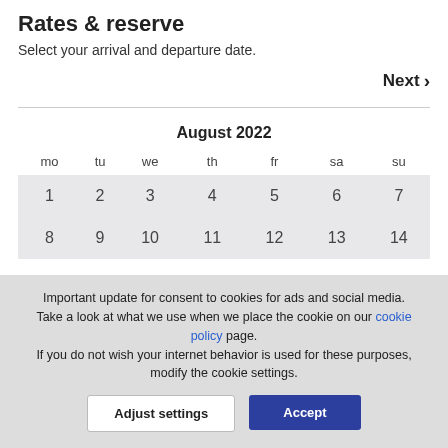Rates & reserve
Select your arrival and departure date.
Next ›
August 2022
| mo | tu | we | th | fr | sa | su |
| --- | --- | --- | --- | --- | --- | --- |
| 1 | 2 | 3 | 4 | 5 | 6 | 7 |
| 8 | 9 | 10 | 11 | 12 | 13 | 14 |
Important update for consent to cookies for ads and social media. Take a look at what we use when we place the cookie on our cookie policy page. If you do not wish your internet behavior is used for these purposes, modify the cookie settings.
Adjust settings
Accept